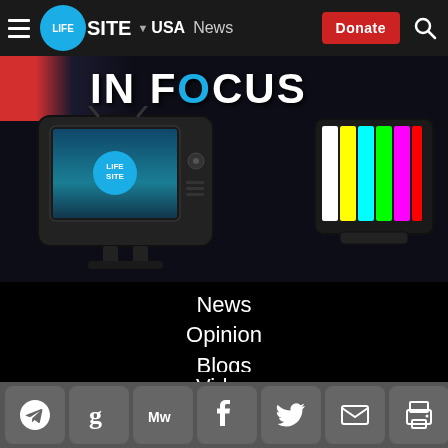LIFESITE | ▼ USA  News  [Donate]  🔍
[Figure (photo): LifeSite In Focus banner with vintage TV set displaying LifeSite logo and a color bar device on dark background]
News
Opinion
Blogs
Podcasts
Video
[Figure (infographic): Social sharing icons bar: Telegram, GetPocket, MeWe, Facebook, Twitter, Email, Print, and Dollar sign donate button]